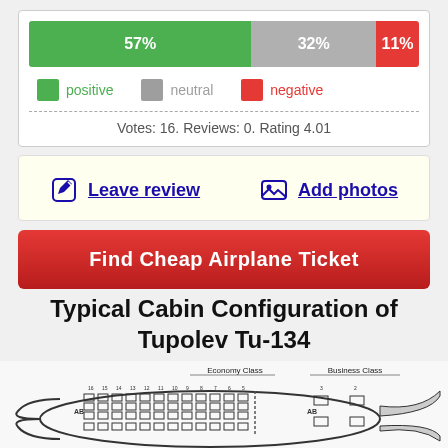[Figure (bar-chart): Rating distribution]
Votes: 16. Reviews: 0. Rating 4.01
Leave review  Add photos
Find Cheap Airplane Ticket
Typical Cabin Configuration of Tupolev Tu-134
[Figure (engineering-diagram): Cabin seating diagram of Tupolev Tu-134 showing Economy Class and Business Class seat layout with row numbers]